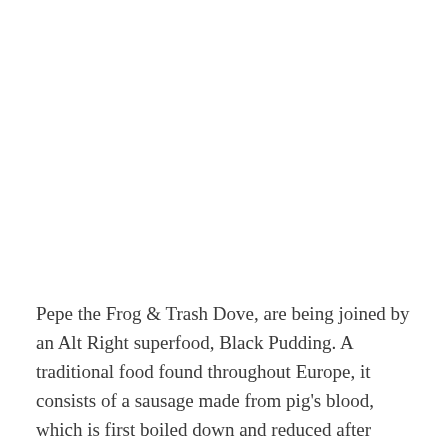Pepe the Frog & Trash Dove, are being joined by an Alt Right superfood, Black Pudding. A traditional food found throughout Europe, it consists of a sausage made from pig's blood, which is first boiled down and reduced after which cuts of pork